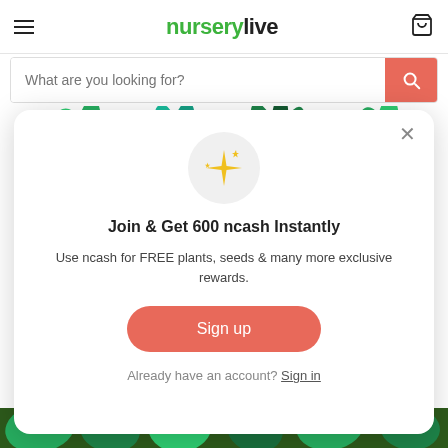nurserylive
What are you looking for?
[Figure (photo): Background image showing colorful potted plants on a shelf]
Join & Get 600 ncash Instantly
Use ncash for FREE plants, seeds & many more exclusive rewards.
Sign up
Already have an account? Sign in